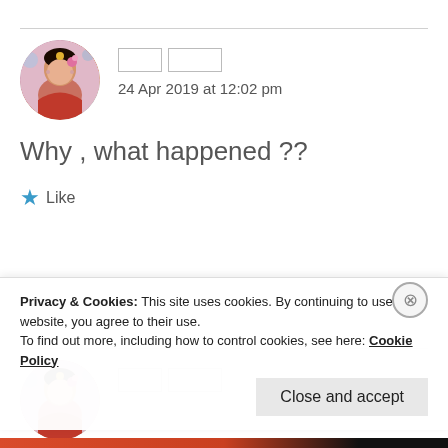[Figure (photo): Round avatar photo of a woman in traditional Indian bridal attire with colorful decorations]
24 Apr 2019 at 12:02 pm
Why , what happened ??
★ Like
[Figure (photo): Round avatar photo of the same woman in traditional Indian bridal attire]
Privacy & Cookies: This site uses cookies. By continuing to use this website, you agree to their use.
To find out more, including how to control cookies, see here: Cookie Policy
Close and accept